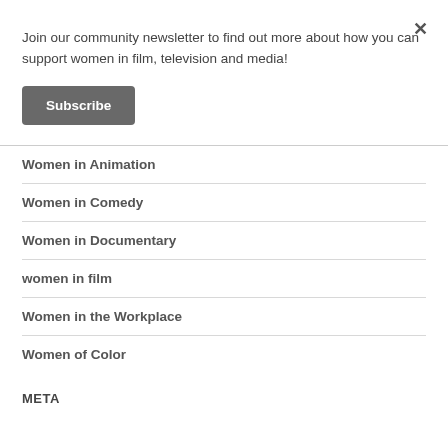×
Join our community newsletter to find out more about how you can support women in film, television and media!
Subscribe
Women in Animation
Women in Comedy
Women in Documentary
women in film
Women in the Workplace
Women of Color
META